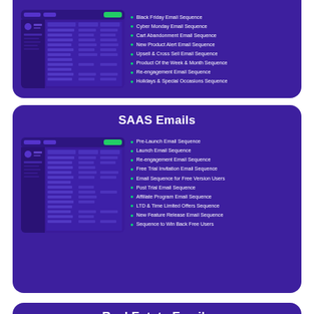[Figure (screenshot): Email marketing platform screenshot showing email sequences dashboard]
Black Friday Email Sequence
Cyber Monday Email Sequence
Cart Abandonment Email Sequence
New Product Alert Email Sequence
Upsell & Cross Sell Email Sequence
Product Of the Week & Month Sequence
Re-engagement Email Sequence
Holidays & Special Occasions Sequence
SAAS Emails
[Figure (screenshot): Email marketing platform screenshot showing SAAS email sequences dashboard]
Pre-Launch Email Sequence
Launch Email Sequence
Re-engagement Email Sequence
Free Trial Invitation Email Sequence
Email Sequence for Free Version Users
Post Trial Email Sequence
Affiliate Program Email Sequence
LTD & Time Limited Offers Sequence
New Feature Release Email Sequence
Sequence to Win Back Free Users
Real Estate Emails
[Figure (screenshot): Email marketing platform screenshot showing Real Estate email sequences dashboard]
Cold Seller Leads Reactivation Sequence
Cold Buyer Leads Reactivation Sequence